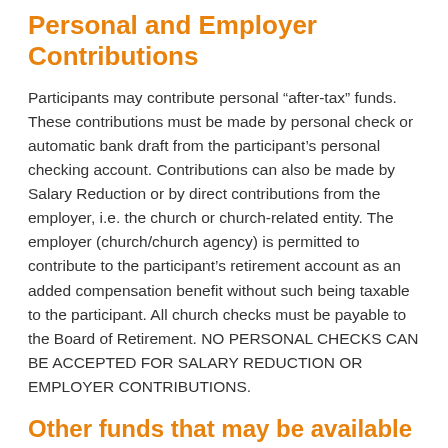Personal and Employer Contributions
Participants may contribute personal “after-tax” funds. These contributions must be made by personal check or automatic bank draft from the participant’s personal checking account. Contributions can also be made by Salary Reduction or by direct contributions from the employer, i.e. the church or church-related entity. The employer (church/church agency) is permitted to contribute to the participant’s retirement account as an added compensation benefit without such being taxable to the participant. All church checks must be payable to the Board of Retirement. NO PERSONAL CHECKS CAN BE ACCEPTED FOR SALARY REDUCTION OR EMPLOYER CONTRIBUTIONS.
Other funds that may be available